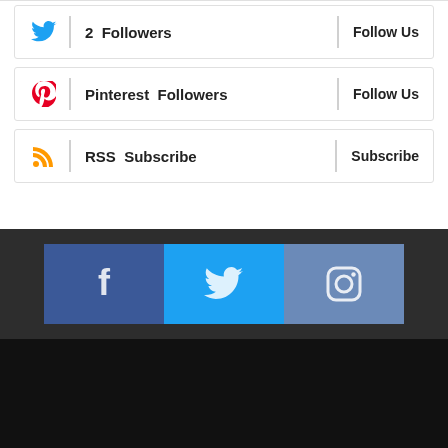2  Followers  |  Follow Us
Pinterest  Followers  |  Follow Us
RSS  Subscribe  |  Subscribe
[Figure (infographic): Three social media icon buttons: Facebook (blue), Twitter (light blue), Instagram (steel blue), displayed in a dark gray bar.]